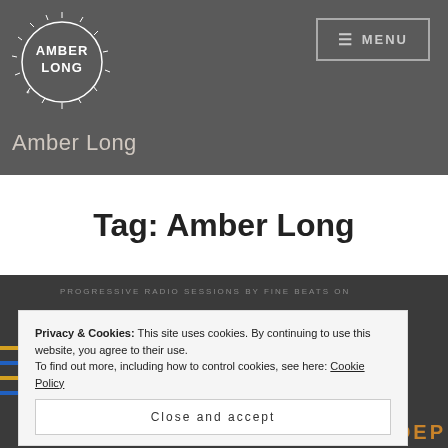[Figure (logo): Amber Long circular logo with decorative spikes, white text on dark background]
Amber Long
[Figure (other): Menu button with hamburger icon and MENU text, top right of header]
Tag: Amber Long
PROGRESSIVE RADIO SESSIONS BY FINE BEATS ON...
Privacy & Cookies: This site uses cookies. By continuing to use this website, you agree to their use.
To find out more, including how to control cookies, see here: Cookie Policy
Close and accept
INDEP